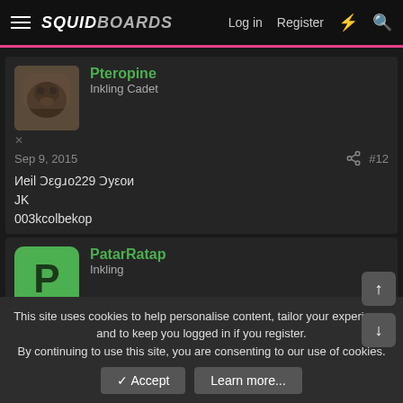SQUIDBOARDS — Log in | Register
[Figure (screenshot): Avatar thumbnail of Pteropine user - animal photo]
Pteropine
Inkling Cadet
Sep 9, 2015   #12
Иеіl Ɔεɡɹo229 Ͻyεoи
JK
003kcolbekop
[Figure (illustration): Green P avatar for PatarRatap user]
PatarRatap
Inkling
Sep 9, 2015   #13
This site uses cookies to help personalise content, tailor your experience and to keep you logged in if you register.
By continuing to use this site, you are consenting to our use of cookies.
✓ Accept   Learn more...